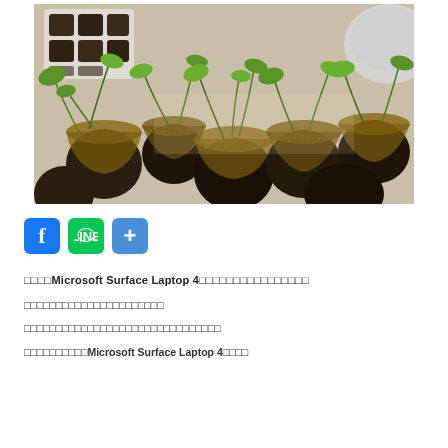[Figure (photo): Overhead view of small seedling plants in round peat pots and plastic seed trays on a table, green sprouts growing in dark soil]
[Figure (infographic): Social sharing buttons: Facebook (blue), LINE (green with circle logo), and a blue plus/share button]
□□□□Microsoft Surface Laptop 4□□□□□□□□□□□□□□□□
□□□□□□□□□□□□□□□□□□□□□□
□□□□□□□□□□□□□□□□□□□□□□□□□□□□□
□□□□□□□□□□Microsoft Surface Laptop 4□□□□